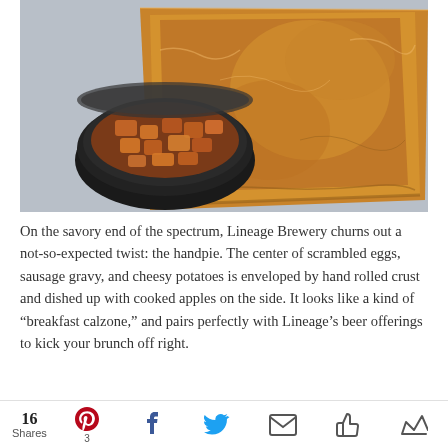[Figure (photo): Overhead view of a triangular golden-brown handpie pastry and a small black bowl of cooked apple chunks on a light grey surface.]
On the savory end of the spectrum, Lineage Brewery churns out a not-so-expected twist: the handpie. The center of scrambled eggs, sausage gravy, and cheesy potatoes is enveloped by hand rolled crust and dished up with cooked apples on the side. It looks like a kind of “breakfast calzone,” and pairs perfectly with Lineage’s beer offerings to kick your brunch off right.
16 Shares  [Pinterest] 3  [Facebook]  [Twitter]  [Email]  [Like]  [Crown]